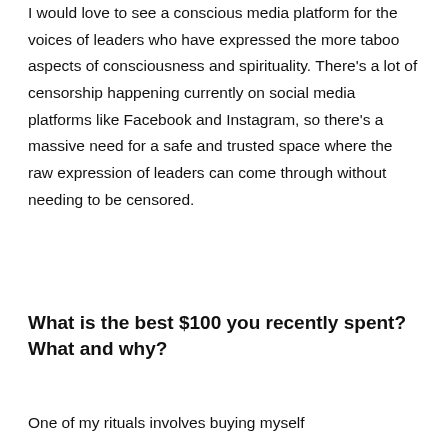I would love to see a conscious media platform for the voices of leaders who have expressed the more taboo aspects of consciousness and spirituality. There's a lot of censorship happening currently on social media platforms like Facebook and Instagram, so there's a massive need for a safe and trusted space where the raw expression of leaders can come through without needing to be censored.
What is the best $100 you recently spent? What and why?
One of my rituals involves buying myself